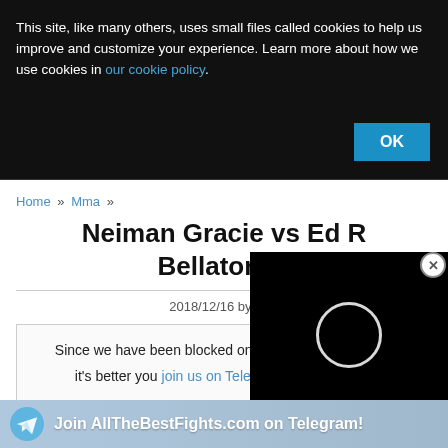This site, like many others, uses small files called cookies to help us improve and customize your experience. Learn more about how we use cookies in our cookie policy.
OK
Home » Mma »
Neiman Gracie vs Ed Ruth - Bellator 21
2018/12/16 by ATB
[Figure (screenshot): Black video player overlay with circular loading spinner]
Since we have been blocked on Facebook and Twitter, it's better you join us on Telegram...
CLOSE
Join AllTheBestFights.com on Telegram!